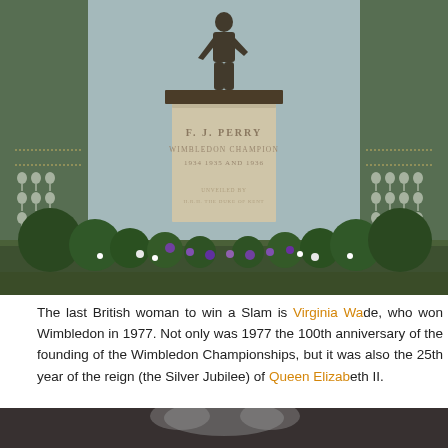[Figure (photo): Photograph of the F.J. Perry statue at Wimbledon. The stone pedestal reads 'F.J. PERRY / WIMBLEDON CHAMPION / 1934 1935 AND 1936'. The pedestal is surrounded by green shrubs and purple and white flowers in a dark green planter box. A bronze statue figure stands on top of the pedestal. The background shows green glass panels with decorative tennis racket icons.]
The last British woman to win a Slam is Virginia Wade, who won Wimbledon in 1977. Not only was 1977 the 100th anniversary of the founding of the Wimbledon Championships, but it was also the 25th year of the reign (the Silver Jubilee) of Queen Elizabeth II.
[Figure (photo): Partial photo visible at the bottom of the page, showing a dark image, appears to be a person or crowd photo at Wimbledon.]